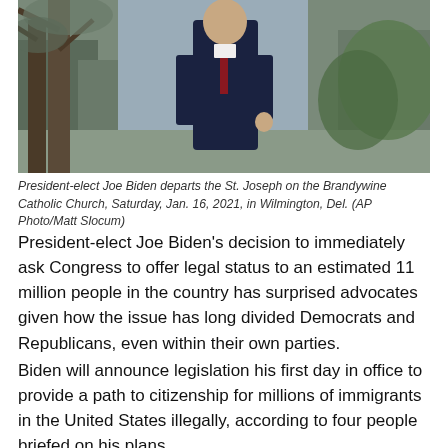[Figure (photo): President-elect Joe Biden walking outdoors in a dark suit, with trees and greenery in background]
President-elect Joe Biden departs the St. Joseph on the Brandywine Catholic Church, Saturday, Jan. 16, 2021, in Wilmington, Del. (AP Photo/Matt Slocum)
President-elect Joe Biden's decision to immediately ask Congress to offer legal status to an estimated 11 million people in the country has surprised advocates given how the issue has long divided Democrats and Republicans, even within their own parties.
Biden will announce legislation his first day in office to provide a path to citizenship for millions of immigrants in the United States illegally, according to four people briefed on his plans.